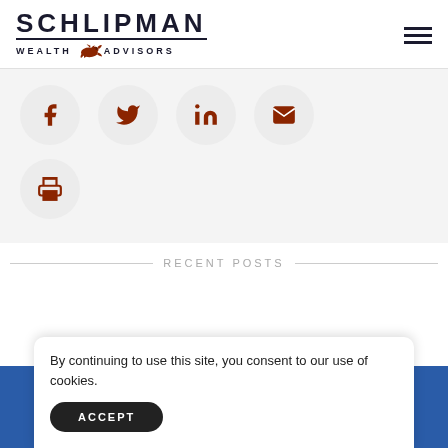[Figure (logo): Schlipman Wealth Advisors logo with bull icon]
[Figure (infographic): Social media sharing icons: Facebook, Twitter, LinkedIn, Email, Print - each in a circular button]
RECENT POSTS
By continuing to use this site, you consent to our use of cookies.